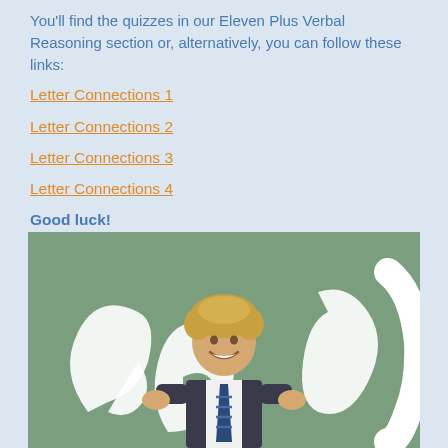You'll find the quizzes in our Eleven Plus Verbal Reasoning section or, alternatively, you can follow these links:
Letter Connections 1
Letter Connections 2
Letter Connections 3
Letter Connections 4
Good luck!
[Figure (photo): A smiling boy in school uniform (blazer, shirt, striped tie) holding large white foam letters/numbers, standing in front of a green background]